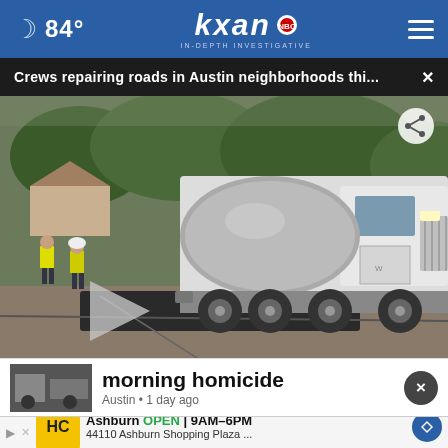84° kxan IN-DEPTH INVESTIGATIVE
Crews repairing roads in Austin neighborhoods thi... ×
[Figure (photo): A large white road repair truck/mixer with workers in yellow safety vests repairing a road surface; orange traffic cones visible; trees and houses in background. Play button overlay visible in lower left area.]
morning homicide
Austin • 1 day ago
Ashburn OPEN 9AM–6PM 44110 Ashburn Shopping Plaza ...
Austin • 1 day ago